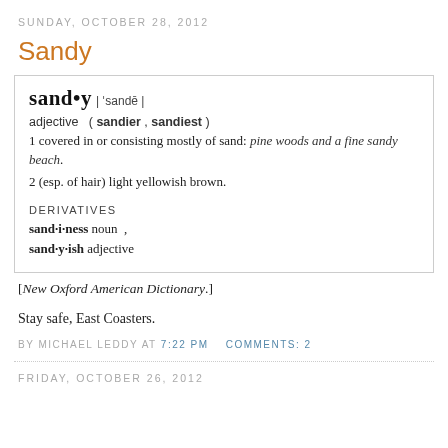SUNDAY, OCTOBER 28, 2012
Sandy
[Figure (other): Dictionary entry box for 'sandy': adjective (sandier, sandiest). 1 covered in or consisting mostly of sand: pine woods and a fine sandy beach. 2 (esp. of hair) light yellowish brown. DERIVATIVES sand·i·ness noun, sand·y·ish adjective]
[New Oxford American Dictionary.]
Stay safe, East Coasters.
BY MICHAEL LEDDY AT 7:22 PM   COMMENTS: 2
FRIDAY, OCTOBER 26, 2012